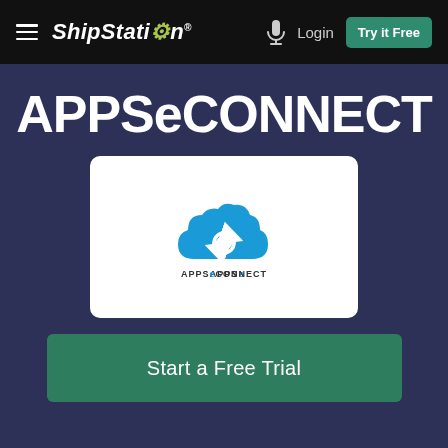ShipStation — Login | Try it Free
APPSeCONNECT
[Figure (logo): APPSeCONNECT logo: blue cloud icon with circular arrows, text 'APPSECONNECT' below, on white card background]
Start a Free Trial